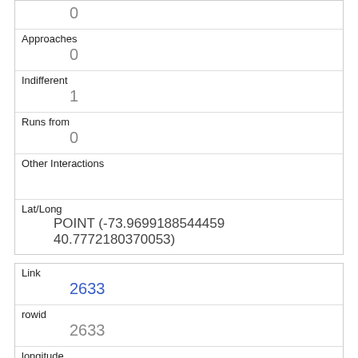| (no label) | 0 |
| Approaches | 0 |
| Indifferent | 1 |
| Runs from | 0 |
| Other Interactions |  |
| Lat/Long | POINT (-73.9699188544459 40.7772180370053) |
| Link | 2633 |
| rowid | 2633 |
| longitude | -73.9776151109912 |
| latitude | 40.7694681558386 |
| Unique Squirrel ID |  |